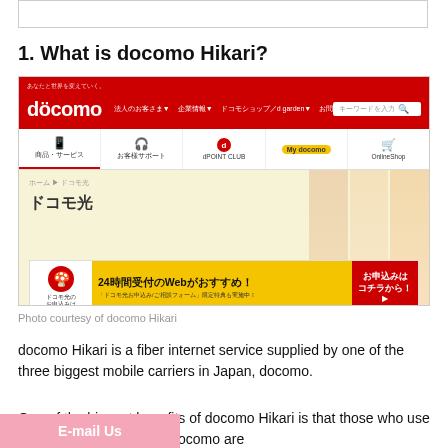[Figure (screenshot): Screenshot of docomo Hikari website showing the NTT docomo homepage with red navigation bar, Japanese text menus, and a yellow banner advertising 24-hour web application service for docomo Hikari fiber internet.]
Photo courtesy of docomo Hikari
1. What is docomo Hikari?
docomo Hikari is a fiber internet service supplied by one of the three biggest mobile carriers in Japan, docomo.
One of the biggest benefits of docomo Hikari is that those who use a smartphone from NTT docomo are